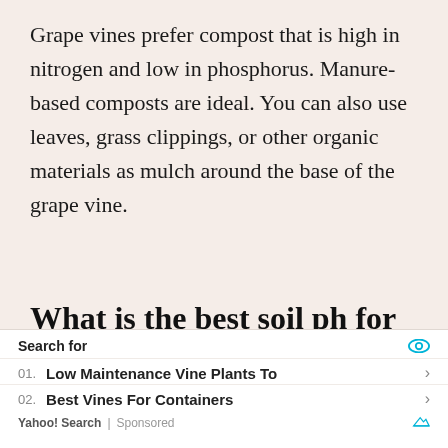Grape vines prefer compost that is high in nitrogen and low in phosphorus. Manure-based composts are ideal. You can also use leaves, grass clippings, or other organic materials as mulch around the base of the grape vine.
What is the best soil ph for grape vines?
The ideal soil pH for grape vines is between six
Search for
01. Low Maintenance Vine Plants To
02. Best Vines For Containers
Yahoo! Search | Sponsored